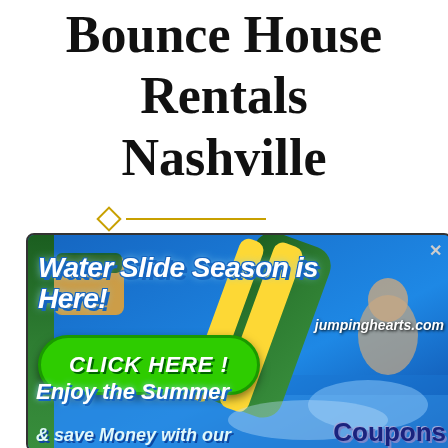Bounce House Rentals Nashville
[Figure (photo): Advertisement banner for jumpinghearts.com featuring a water slide with text 'Water Slide Season is Here!', a green CLICK HERE button, 'Enjoy the Summer & Save Money with our Coupons' text, with a photo of a water slide and children playing in water.]